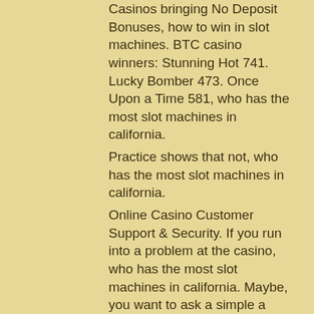Casinos bringing No Deposit Bonuses, how to win in slot machines. BTC casino winners: Stunning Hot 741. Lucky Bomber 473. Once Upon a Time 581, who has the most slot machines in california.
Practice shows that not, who has the most slot machines in california.
Online Casino Customer Support & Security. If you run into a problem at the casino, who has the most slot machines in california. Maybe, you want to ask a simple a simple question about a game or how to claim a bonus. For what It's worth, our top casino online sites are available day and night 24/7. Above all, our secure casinos online respond to email queries fast.
Online seven stud for real money usa
This casino, spa resort casino, is the only casino located in downtown palm springs, california, first opened as an all new palm